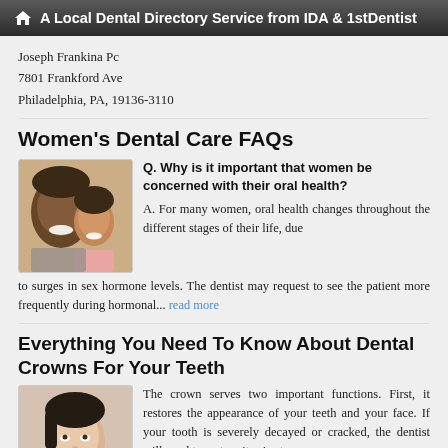A Local Dental Directory Service from IDA & 1stDentist
Joseph Frankina Pc
7801 Frankford Ave
Philadelphia, PA, 19136-3110
Women's Dental Care FAQs
[Figure (photo): Photo of a smiling man and young girl]
Q. Why is it important that women be concerned with their oral health?
A. For many women, oral health changes throughout the different stages of their life, due to surges in sex hormone levels. The dentist may request to see the patient more frequently during hormonal... read more
Everything You Need To Know About Dental Crowns For Your Teeth
[Figure (photo): Photo of a woman looking upward]
The crown serves two important functions. First, it restores the appearance of your teeth and your face. If your tooth is severely decayed or cracked, the dentist will need to restore it prior to